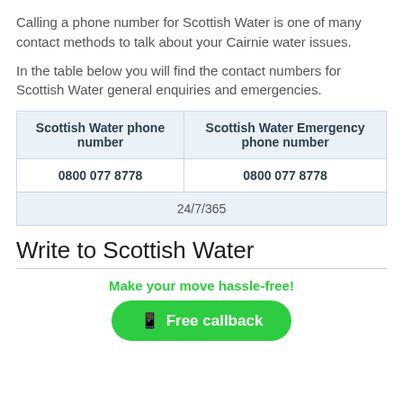Calling a phone number for Scottish Water is one of many contact methods to talk about your Cairnie water issues.
In the table below you will find the contact numbers for Scottish Water general enquiries and emergencies.
| Scottish Water phone number | Scottish Water Emergency phone number |
| --- | --- |
| 0800 077 8778 | 0800 077 8778 |
| 24/7/365 |  |
Write to Scottish Water
Make your move hassle-free!
Free callback